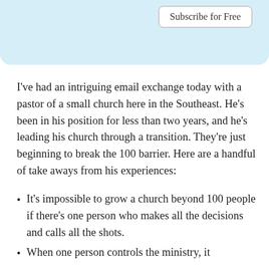Subscribe for Free
I've had an intriguing email exchange today with a pastor of a small church here in the Southeast. He's been in his position for less than two years, and he's leading his church through a transition. They're just beginning to break the 100 barrier. Here are a handful of take aways from his experiences:
It's impossible to grow a church beyond 100 people if there's one person who makes all the decisions and calls all the shots.
When one person controls the ministry, it